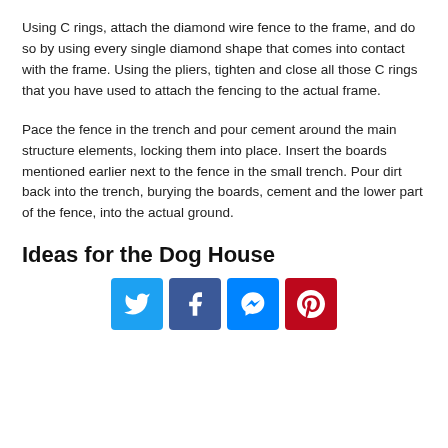Using C rings, attach the diamond wire fence to the frame, and do so by using every single diamond shape that comes into contact with the frame. Using the pliers, tighten and close all those C rings that you have used to attach the fencing to the actual frame.
Pace the fence in the trench and pour cement around the main structure elements, locking them into place. Insert the boards mentioned earlier next to the fence in the small trench. Pour dirt back into the trench, burying the boards, cement and the lower part of the fence, into the actual ground.
Ideas for the Dog House
[Figure (other): Social media sharing buttons: Twitter, Facebook, Messenger, Pinterest]